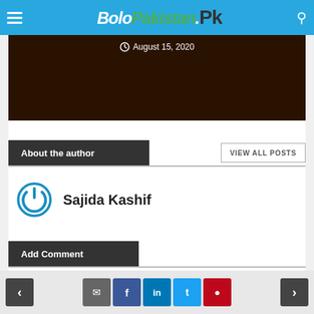BoloPakistan.Pk
[Figure (photo): Dark brown image with date label 'August 15, 2020' at the top]
About the author
VIEW ALL POSTS
Sajida Kashif
Add Comment
Navigation and social share buttons: back, comment, facebook, linkedin, twitter, pinterest, forward